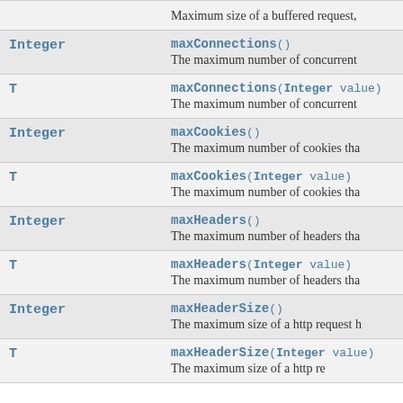| Type | Method and Description |
| --- | --- |
|  | Maximum size of a buffered request, |
| Integer | maxConnections()
The maximum number of concurrent |
| T | maxConnections(Integer value)
The maximum number of concurrent |
| Integer | maxCookies()
The maximum number of cookies tha |
| T | maxCookies(Integer value)
The maximum number of cookies tha |
| Integer | maxHeaders()
The maximum number of headers tha |
| T | maxHeaders(Integer value)
The maximum number of headers tha |
| Integer | maxHeaderSize()
The maximum size of a http request h |
| T | maxHeaderSize(Integer value)
The maximum size of a http request |